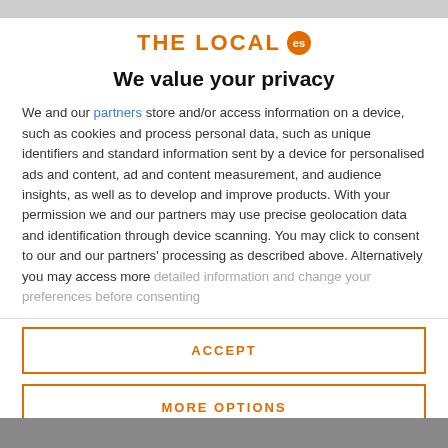[Figure (logo): The Local ES logo with orange text and circular badge]
We value your privacy
We and our partners store and/or access information on a device, such as cookies and process personal data, such as unique identifiers and standard information sent by a device for personalised ads and content, ad and content measurement, and audience insights, as well as to develop and improve products. With your permission we and our partners may use precise geolocation data and identification through device scanning. You may click to consent to our and our partners' processing as described above. Alternatively you may access more detailed information and change your preferences before consenting
ACCEPT
MORE OPTIONS